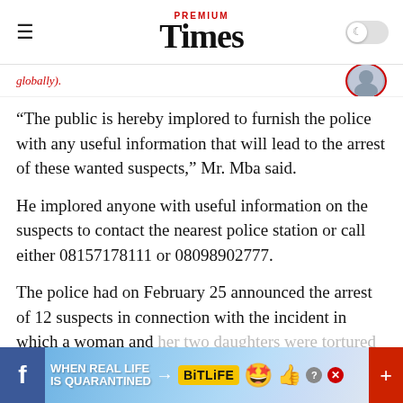PREMIUM Times
globally).
“The public is hereby implored to furnish the police with any useful information that will lead to the arrest of these wanted suspects,” Mr. Mba said.
He implored anyone with useful information on the suspects to contact the nearest police station or call either 08157178111 or 08098902777.
The police had on February 25 announced the arrest of 12 suspects in connection with the incident in which a woman and her two daughters were tortured at the Oba Morufu International
[Figure (infographic): BitLife advertisement banner with Facebook icon, rainbow background text 'WHEN REAL LIFE IS QUARANTINED', arrow, BitLife logo, star emoji, and plus button]